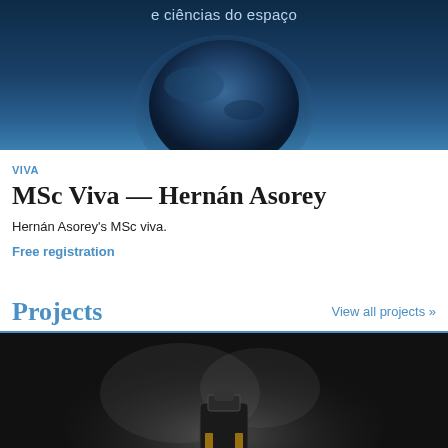[Figure (photo): Dark space/planet hero image with text 'e ciências do espaço' at top]
VIVA
MSc Viva — Hernán Asorey
Hernán Asorey's MSc viva.
Free registration
Projects
View all projects »
[Figure (photo): Dark background with a scientific instrument/device emitting smoke or particles]